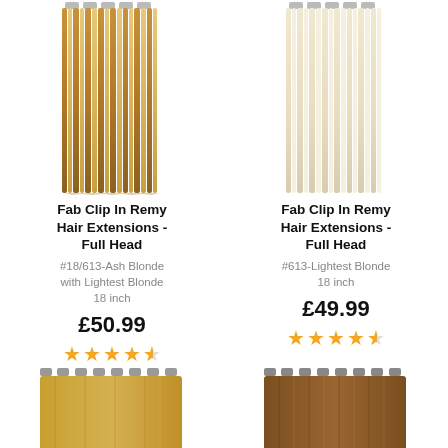[Figure (photo): Clip-in Remy hair extensions, ash blonde with lightest blonde highlights, 18 inch, shown hanging straight]
[Figure (photo): Clip-in Remy hair extensions, lightest blonde, 18 inch, shown hanging straight]
Fab Clip In Remy Hair Extensions - Full Head
#18/613-Ash Blonde with Lightest Blonde 18 inch
£50.99
Fab Clip In Remy Hair Extensions - Full Head
#613-Lightest Blonde 18 inch
£49.99
[Figure (photo): Clip-in hair extensions pack shown from top, golden/honey blonde color]
[Figure (photo): Clip-in hair extensions pack shown from top, medium brown/chestnut color]